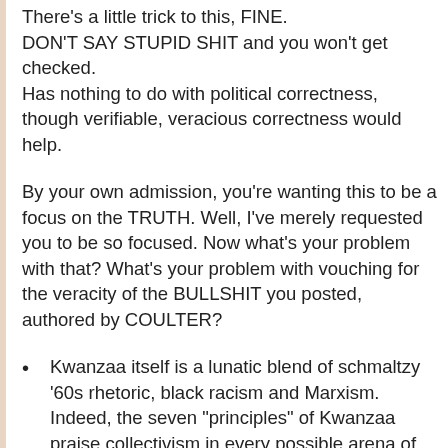There's a little trick to this, FINE. DON'T SAY STUPID SHIT and you won't get checked. Has nothing to do with political correctness, though verifiable, veracious correctness would help.
By your own admission, you're wanting this to be a focus on the TRUTH. Well, I've merely requested you to be so focused. Now what's your problem with that? What's your problem with vouching for the veracity of the BULLSHIT you posted, authored by COULTER?
Kwanzaa itself is a lunatic blend of schmaltzy '60s rhetoric, black racism and Marxism. Indeed, the seven "principles" of Kwanzaa praise collectivism in every possible arena of life